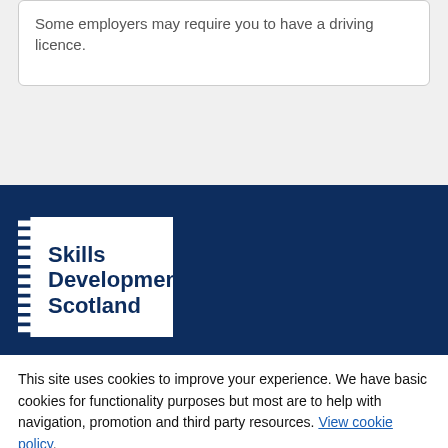Some employers may require you to have a driving licence.
[Figure (logo): Skills Development Scotland logo — white badge shape with serrated left edge on dark navy background, showing text 'Skills Development Scotland' in dark navy bold font]
This site uses cookies to improve your experience. We have basic cookies for functionality purposes but most are to help with navigation, promotion and third party resources. View cookie policy.
Necessary cookies only
I'm fine with cookies